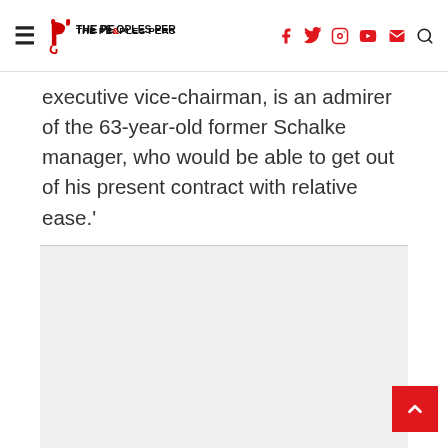THE PEOPLES PERSON — navigation bar with logo and social icons
executive vice-chairman, is an admirer of the 63-year-old former Schalke manager, who would be able to get out of his present contract with relative ease.'
[Figure (other): Advertisement / grey placeholder block below article text]